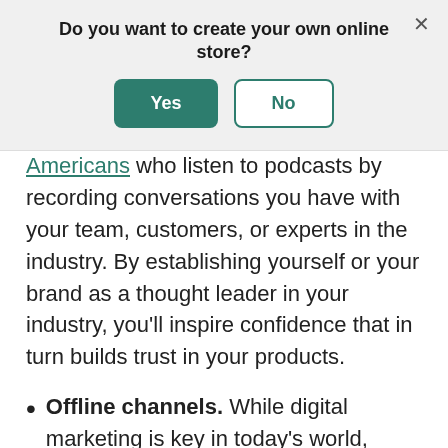Do you want to create your own online store?
Americans who listen to podcasts by recording conversations you have with your team, customers, or experts in the industry. By establishing yourself or your brand as a thought leader in your industry, you'll inspire confidence that in turn builds trust in your products.
Offline channels. While digital marketing is key in today's world, offline and in-person marketing efforts can be equally powerful. Get in front of people when they're not using the internet channels like word-of-